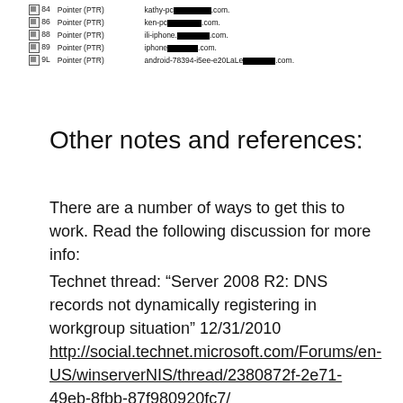|  | Type | Value |
| --- | --- | --- |
| 84 | Pointer (PTR) | kathy-pc[redacted].com. |
| 86 | Pointer (PTR) | ken-pc[redacted].com. |
| 88 | Pointer (PTR) | ili-iphone.[redacted].com. |
| 89 | Pointer (PTR) | iphone[redacted].com. |
| 9L | Pointer (PTR) | android-78394-i5ee-e20LaLe[redacted].com. |
Other notes and references:
There are a number of ways to get this to work. Read the following discussion for more info:
Technet thread: “Server 2008 R2: DNS records not dynamically registering in workgroup situation” 12/31/2010
http://social.technet.microsoft.com/Forums/en-US/winserverNIS/thread/2380872f-2e71-49eb-8fbb-87f980920fc7/